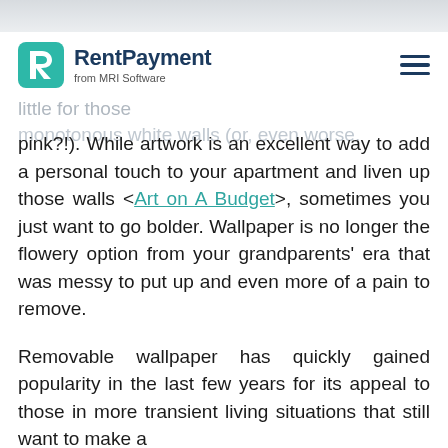RentPayment from MRI Software
monotonous white walls (or, even worse,
pink?!). While artwork is an excellent way to add a personal touch to your apartment and liven up those walls <Art on A Budget>, sometimes you just want to go bolder. Wallpaper is no longer the flowery option from your grandparents' era that was messy to put up and even more of a pain to remove.
Removable wallpaper has quickly gained popularity in the last few years for its appeal to those in more transient living situations that still want to make a